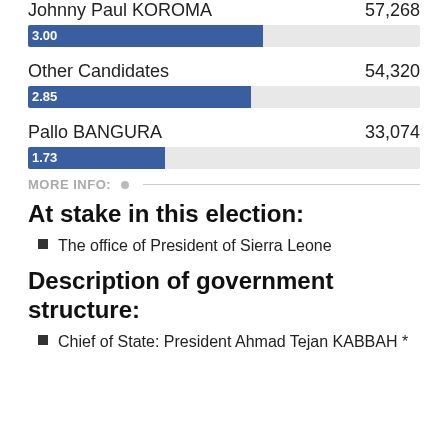Johnny Paul KOROMA  57,268
3.00
Other Candidates  54,320
2.85
Pallo BANGURA  33,074
1.73
MORE INFO:
At stake in this election:
The office of President of Sierra Leone
Description of government structure:
Chief of State: President Ahmad Tejan KABBAH *